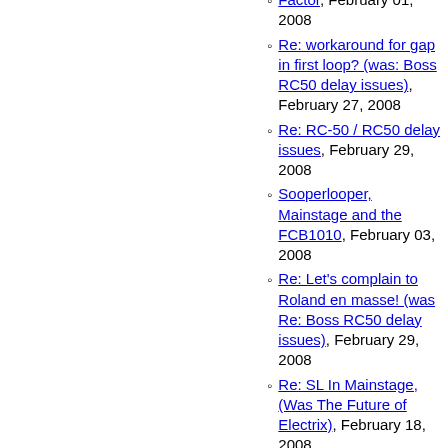Factor, February 01, 2008
Re: workaround for gap in first loop? (was: Boss RC50 delay issues), February 27, 2008
Re: RC-50 / RC50 delay issues, February 29, 2008
Sooperlooper, Mainstage and the FCB1010, February 03, 2008
Re: Let's complain to Roland en masse! (was Re: Boss RC50 delay issues), February 29, 2008
Re: SL In Mainstage, (Was The Future of Electrix), February 18, 2008
Re: back on the list; RC-50 still glitches (but less); weekly show (seeking musicians)